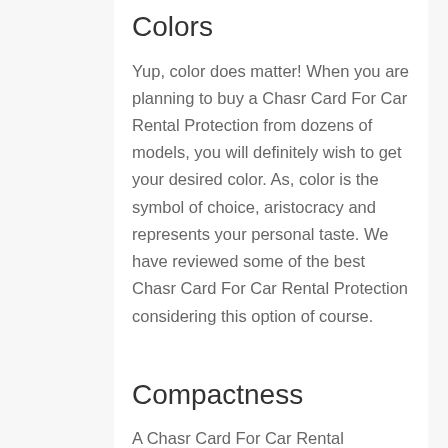Colors
Yup, color does matter! When you are planning to buy a Chasr Card For Car Rental Protection from dozens of models, you will definitely wish to get your desired color. As, color is the symbol of choice, aristocracy and represents your personal taste. We have reviewed some of the best Chasr Card For Car Rental Protection considering this option of course.
Compactness
A Chasr Card For Car Rental